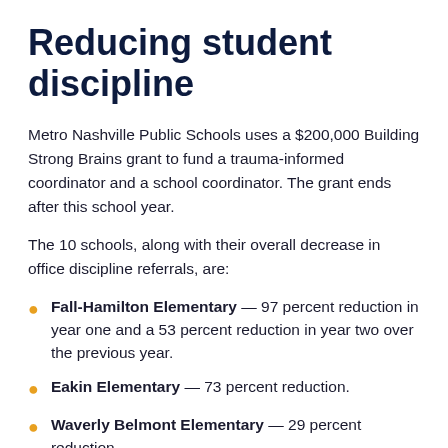Reducing student discipline
Metro Nashville Public Schools uses a $200,000 Building Strong Brains grant to fund a trauma-informed coordinator and a school coordinator. The grant ends after this school year.
The 10 schools, along with their overall decrease in office discipline referrals, are:
Fall-Hamilton Elementary — 97 percent reduction in year one and a 53 percent reduction in year two over the previous year.
Eakin Elementary — 73 percent reduction.
Waverly Belmont Elementary — 29 percent reduction.
Napier Elementary — 15 percent reduction.